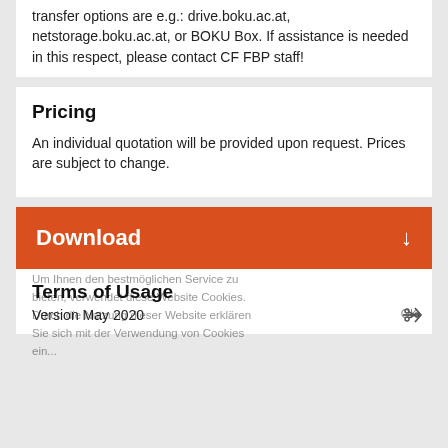transfer options are e.g.: drive.boku.ac.at, netstorage.boku.ac.at, or BOKU Box. If assistance is needed in this respect, please contact CF FBP staff!
Pricing
An individual quotation will be provided upon request. Prices are subject to change.
[Figure (other): Download button bar with orange/red background and white Download text with down arrow icon]
Terms of Usage
Version May 2020